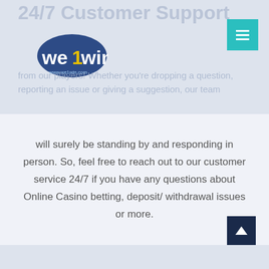24/7 Customer Support
[Figure (logo): we1win logo with www.we1win.com text]
from our players! Whether you're dropping a question, reporting an issue or giving a suggestion, our team
will surely be standing by and responding in person. So, feel free to reach out to our customer service 24/7 if you have any questions about Online Casino betting, deposit/ withdrawal issues or more.